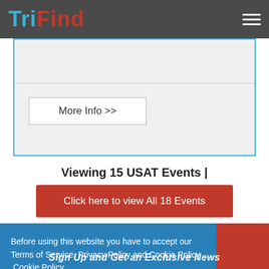TriFind
[Figure (screenshot): Navigation menu hamburger icon (three horizontal lines) in top right of dark header bar]
[Figure (other): Partial card/box area with horizontal divider and More Info >> button on light gray background with blue border]
More Info >>
Viewing 15 USAT Events |
Click here to view All 18 Events
Before using this website you have to accept our Terms of Service, Privacy Policy and Cookie Policy  Cookie Policy
I accept!
Dismiss
Sign Up and Get an Exclusive News